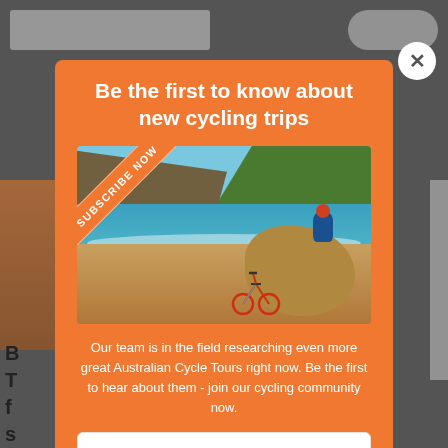Be the first to know about new cycling trips
[Figure (photo): Coastal scene with cliffs, turquoise ocean, sandy beach, a bicycle leaning on rocks, and a person sitting on a rock. A 'Subscribe Now' ribbon banner overlays the top-left corner.]
Our team is in the field researching even more great Australian Cycle Tours right now. Be the first to hear about them - join our cycling community now.
First name